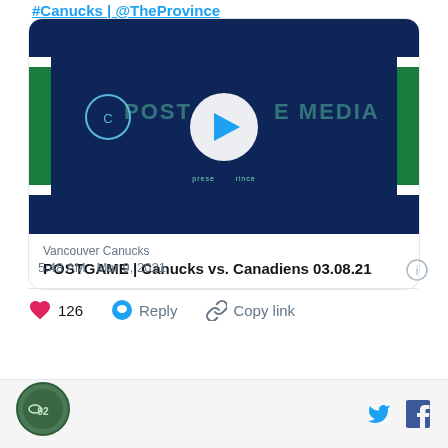#Canucks | @TheProvince
[Figure (screenshot): Video thumbnail showing Vancouver Canucks postgame media presentation with dark blue background, green side panels, Canucks logo, and play button overlay]
Vancouver Canucks
POSTGAME | Canucks vs. Canadiens 03.08.21
5:48 AM · Mar 9, 2021
126 Reply Copy link
[Figure (logo): Publication logo circle at bottom left with Twitter and Facebook share icons]